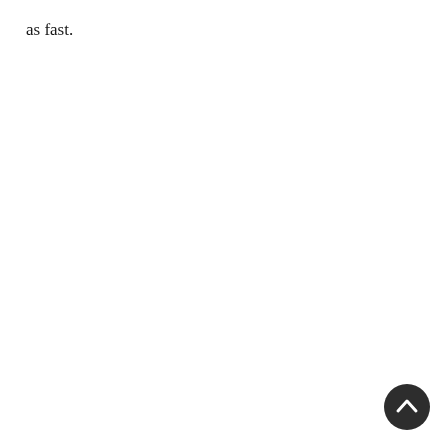as fast.
[Figure (other): A dark circular button with an upward-pointing chevron/arrow icon, positioned in the bottom-right corner of the page (scroll-to-top UI button).]